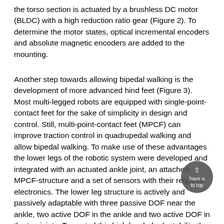the torso section is actuated by a brushless DC motor (BLDC) with a high reduction ratio gear (Figure 2). To determine the motor states, optical incremental encoders and absolute magnetic encoders are added to the mounting.
Another step towards allowing bipedal walking is the development of more advanced hind feet (Figure 3). Most multi-legged robots are equipped with single-point-contact feet for the sake of simplicity in design and control. Still, multi-point-contact feet (MPCF) can improve traction control in quadrupedal walking and allow bipedal walking. To make use of these advantages the lower legs of the robotic system were developed and integrated with an actuated ankle joint, an attached MPCF-structure and a set of sensors with their required electronics. The lower leg structure is actively and passively adaptable with three passive DOF near the ankle, two active DOF in the ankle and two active DOF in the toe joints. To control this high level of adaptability the feet have a very high sensor density including among others a 6-axis force/torque sensor, a pressure sensor array of 43 FSR-sensors, a digital 3-axis accelerometer and digital gyration sensor,